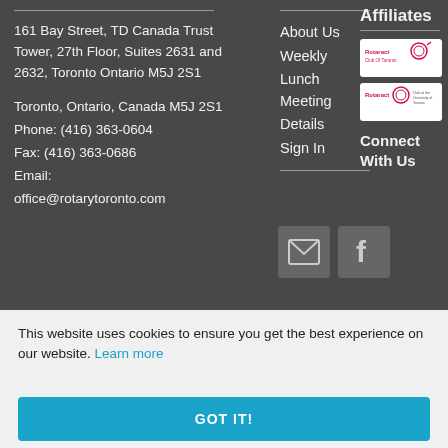Affiliates
161 Bay Street, TD Canada Trust Tower, 27th Floor, Suites 2631 and 2632, Toronto Ontario M5J 2S1
Toronto, Ontario, Canada M5J 2S1
Phone: (416) 363-0604
Fax: (416) 363-0686
Email: office@rotarytoronto.com
About Us
Weekly Lunch Meeting Details
Sign In
[Figure (logo): Rotaract Club of Toronto logo - white background with pink/red Rotaract branding]
[Figure (logo): Rotaract Club at the University of Toronto logo - white background with pink/red Rotaract branding]
Connect With Us
[Figure (illustration): Email envelope icon in grey square]
[Figure (illustration): Facebook 'f' icon in grey square]
This website uses cookies to ensure you get the best experience on our website. Learn more
GOT IT!